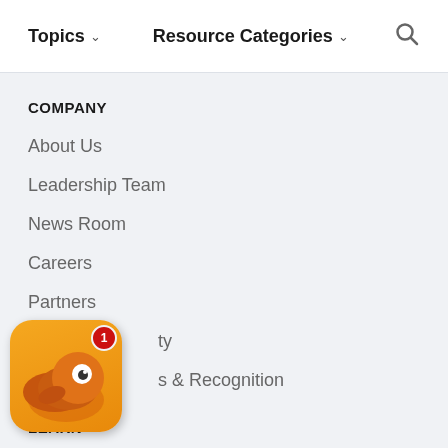Topics ˅   Resource Categories ˅   🔍
COMPANY
About Us
Leadership Team
News Room
Careers
Partners
...ty
...s & Recognition
[Figure (illustration): Orange cartoon character/mascot app icon with a badge showing the number 1]
LEARN
Resource Corner